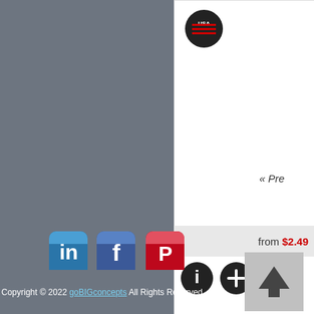[Figure (screenshot): Partial product listing card with USA badge, product image area, price bar showing 'from $2.49', and info/add buttons]
from $2.49
« Pre
[Figure (logo): LinkedIn social media icon button (blue)]
[Figure (logo): Facebook social media icon button (blue)]
[Figure (logo): Pinterest social media icon button (red)]
[Figure (other): Back to top arrow button (grey square with upward arrow)]
Copyright © 2022 goBIGconcepts All Rights Reserved.